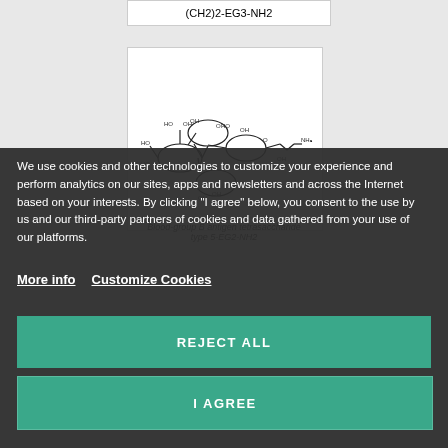(CH2)2-EG3-NH2
[Figure (illustration): Chemical structure of Blood-group B antigen tetrasaccharide type 5-EG2-NH2]
Blood-group B antigen tetrasaccharide type 5-EG2-NH2
[Figure (illustration): Partial chemical structure (third card, partially visible)]
Blood-group A antigen tetrasaccharide...
We use cookies and other technologies to customize your experience and perform analytics on our sites, apps and newsletters and across the Internet based on your interests. By clicking “I agree” below, you consent to the use by us and our third-party partners of cookies and data gathered from your use of our platforms.
More info   Customize Cookies
REJECT ALL
I AGREE